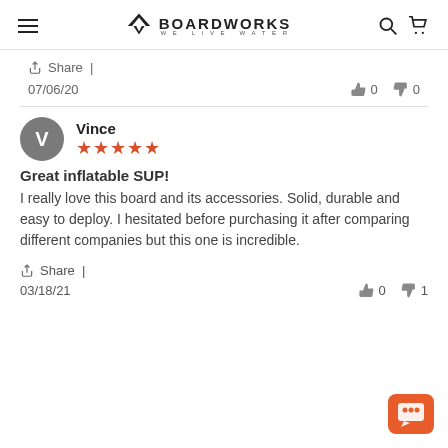Boardworks - We Live Water
Share |
07/06/20   👍 0   👎 0
Vince — 5 stars — Great inflatable SUP! — I really love this board and its accessories. Solid, durable and easy to deploy. I hesitated before purchasing it after comparing different companies but this one is incredible.
Share |
03/18/21   👍 0   👎 1